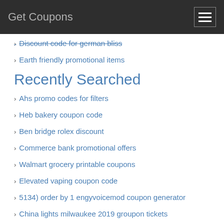Get Coupons
Discount code for german bliss
Earth friendly promotional items
Recently Searched
Ahs promo codes for filters
Heb bakery coupon code
Ben bridge rolex discount
Commerce bank promotional offers
Walmart grocery printable coupons
Elevated vaping coupon code
5134) order by 1 engyvoicemod coupon generator
China lights milwaukee 2019 groupon tickets
Little giraffe coupon codes
Discounts on gas gift cards